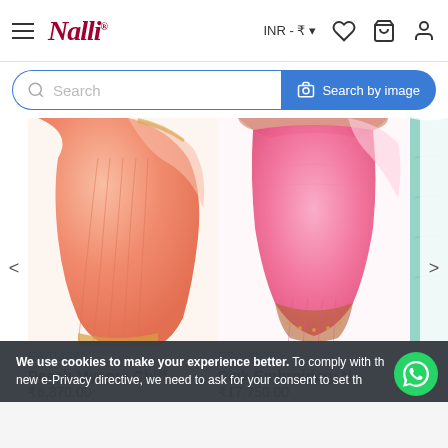Nalli — INR - ₹
Search | Search by image
[Figure (photo): Peach Mysore Chiffon saree product image]
[Figure (photo): Pink Embroidery Net saree product image]
[Figure (photo): Green saree product image (partially visible)]
ES0146811
Peach Mysore Chiff...
₹6,870.00
ES0165350
Pink Embroidery N...
₹17,750.00
ES012
Gree
₹10...
We use cookies to make your experience better. To comply with the new e-Privacy directive, we need to ask for your consent to set th